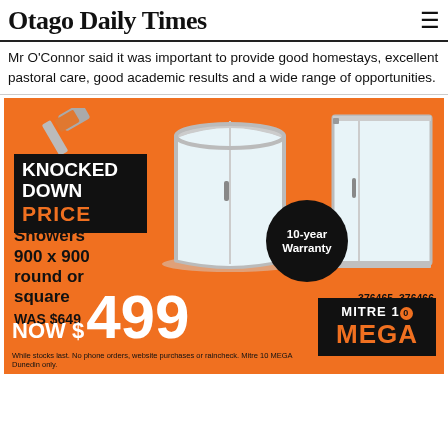Otago Daily Times
Mr O'Connor said it was important to provide good homestays, excellent pastoral care, good academic results and a wide range of opportunities.
[Figure (other): Mitre 10 MEGA advertisement on orange background. Features 'Knocked Down Price' badge with hammer graphic, two shower units (round and square 900x900), a black warranty circle reading '10-year Warranty', product description 'Showers 900 x 900 round or square WAS $649 NOW $499', product codes 376465, 376466, Mitre 10 MEGA logo, and fine print: 'While stocks last. No phone orders, website purchases or raincheck. Mitre 10 MEGA Dunedin only.']